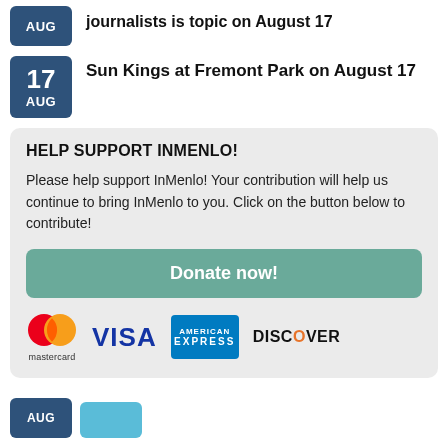journalists is topic on August 17
Sun Kings at Fremont Park on August 17
HELP SUPPORT INMENLO!
Please help support InMenlo! Your contribution will help us continue to bring InMenlo to you. Click on the button below to contribute!
[Figure (other): Donate now button (green)]
[Figure (other): Payment logos: Mastercard, VISA, American Express, Discover]